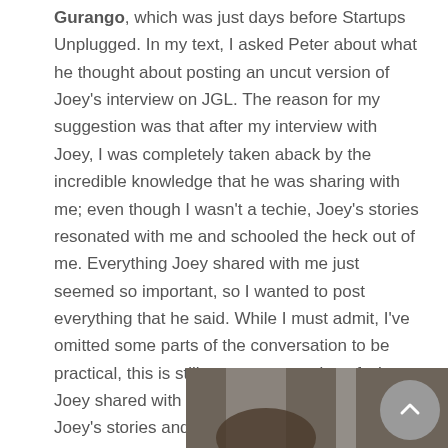Gurango, which was just days before Startups Unplugged. In my text, I asked Peter about what he thought about posting an uncut version of Joey's interview on JGL. The reason for my suggestion was that after my interview with Joey, I was completely taken aback by the incredible knowledge that he was sharing with me; even though I wasn't a techie, Joey's stories resonated with me and schooled the heck out of me. Everything Joey shared with me just seemed so important, so I wanted to post everything that he said. While I must admit, I've omitted some parts of the conversation to be practical, this is still a very raw version of what Joey shared with me. I hope this piece will allow Joey's stories and insights to speak for itself. The other portions of his story will be coming soon! In the meantime, sit tight and allow the sublime to take its course.
[Figure (photo): A photo of a person in an indoor setting, partially visible at the bottom of the page]